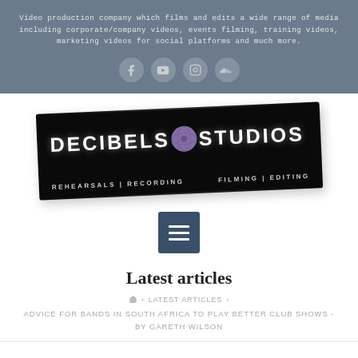Video production company which films and edits a wide range of media including corporate/company videos, events filming, training videos, marketing videos for social platforms and much more.
[Figure (logo): Decibels Studios logo on black background, showing 'DECIBELS STUDIOS' with a globe icon, and subtext 'REHEARSALS | RECORDING' on left and 'FILMING | EDITING' on right]
[Figure (other): Hamburger menu button (three horizontal lines) on dark blue-gray background]
Latest articles
LATEST ARTICLES › ADVICE FOR BANDS IN SOUTH AFRICA TO PLAY BETTER CLUB SHOWS - BY GARETH WILSON